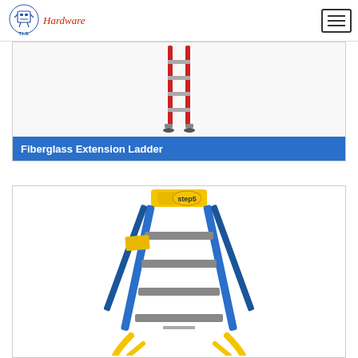T.I.S. Hardware
[Figure (photo): Red fiberglass extension ladder photographed against white background, viewed from side]
Fiberglass Extension Ladder
[Figure (photo): Blue and yellow fiberglass step ladder with yellow top cap branded with logo, photographed against white background]